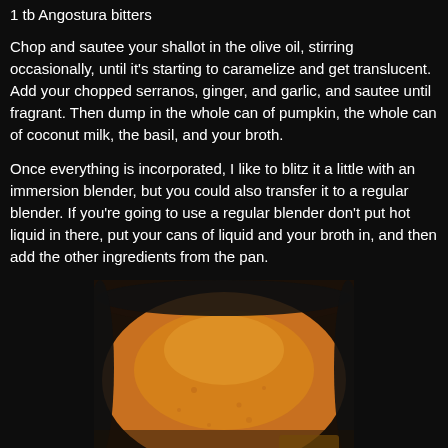1 tb Angostura bitters
Chop and sautee your shallot in the olive oil, stirring occasionally, until it's starting to caramelize and get translucent. Add your chopped serranos, ginger, and garlic, and sautee until fragrant. Then dump in the whole can of pumpkin, the whole can of coconut milk, the basil, and your broth.
Once everything is incorporated, I like to blitz it a little with an immersion blender, but you could also transfer it to a regular blender. If you're going to use a regular blender don't put hot liquid in there, put your cans of liquid and your broth in, and then add the other ingredients from the pan.
[Figure (photo): Overhead view of a pot containing smooth orange pumpkin soup, viewed from above, with the rim of a dark pot visible and a spoon partially visible at the bottom right.]